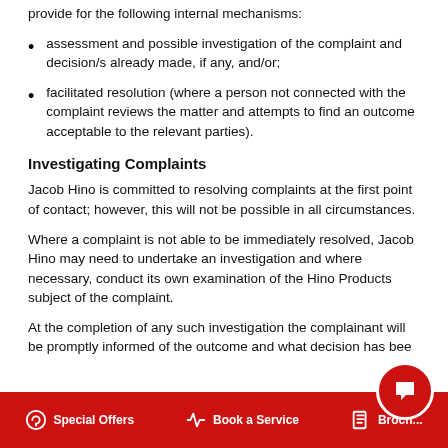provide for the following internal mechanisms:
assessment and possible investigation of the complaint and decision/s already made, if any, and/or;
facilitated resolution (where a person not connected with the complaint reviews the matter and attempts to find an outcome acceptable to the relevant parties).
Investigating Complaints
Jacob Hino is committed to resolving complaints at the first point of contact; however, this will not be possible in all circumstances.
Where a complaint is not able to be immediately resolved, Jacob Hino may need to undertake an investigation and where necessary, conduct its own examination of the Hino Products subject of the complaint.
At the completion of any such investigation the complainant will be promptly informed of the outcome and what decision has bee
Special Offers   Book a Service   Brochure